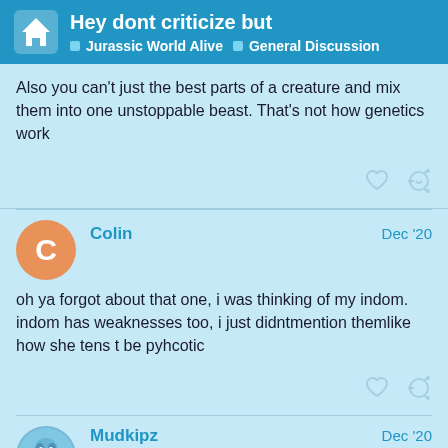Hey dont criticize but | Jurassic World Alive | General Discussion
Also you can't just the best parts of a creature and mix them into one unstoppable beast. That's not how genetics work
Colin  Dec '20
oh ya forgot about that one, i was thinking of my indom. indom has weaknesses too, i just didntmention themlike how she tens t be pyhcotic
Mudkipz  Dec '20
Indominus is definitely one of the better leg